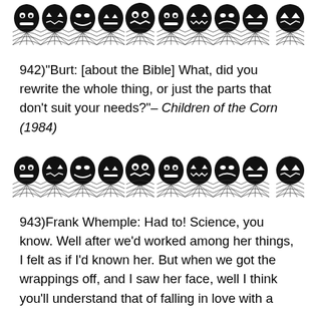[Figure (illustration): A decorative Halloween banner showing a row of black jack-o-lantern pumpkins with various facial expressions (evil grins, grimaces) sitting above a row of spiderwebs, all in black and white/grayscale.]
942)"Burt: [about the Bible] What, did you rewrite the whole thing, or just the parts that don't suit your needs?"– Children of the Corn (1984)
[Figure (illustration): A second identical decorative Halloween banner showing a row of black jack-o-lantern pumpkins with various facial expressions sitting above a row of spiderwebs, all in black and white/grayscale.]
943)Frank Whemple: Had to! Science, you know. Well after we'd worked among her things, I felt as if I'd known her. But when we got the wrappings off, and I saw her face, well I think you'll understand that of falling in love with a woman...